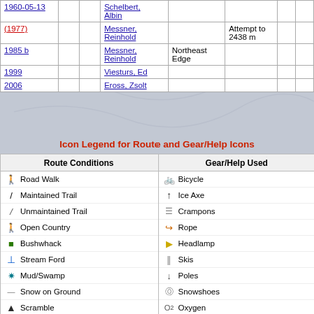| Date |  |  | Person | Route | Notes |  |  |
| --- | --- | --- | --- | --- | --- | --- | --- |
| 1960-05-13 |  |  | Schelbert, Albin |  |  |  |  |
| (1977) |  |  | Messner, Reinhold |  | Attempt to 2438 m |  |  |
| 1985 b |  |  | Messner, Reinhold | Northeast Edge |  |  |  |
| 1999 |  |  | Viesturs, Ed |  |  |  |  |
| 2006 |  |  | Eross, Zsolt |  |  |  |  |
Icon Legend for Route and Gear/Help Icons
| Route Conditions |  | Gear/Help Used |  |
| --- | --- | --- | --- |
| Road Walk |  | Bicycle |  |
| Maintained Trail |  | Ice Axe |  |
| Unmaintained Trail |  | Crampons |  |
| Open Country |  | Rope |  |
| Bushwhack |  | Headlamp |  |
| Stream Ford |  | Skis |  |
| Mud/Swamp |  | Poles |  |
| Snow on Ground |  | Snowshoes |  |
| Scramble |  | Oxygen |  |
| Exposed Scramble |  | Guide |  |
| Rock Climb |  | Porters |  |
| Snow Climb |  | Pack Animal |  |
| Glacier Climb |  | Hut/Cabin |  |
| Ice Climb |  | Tent Camp |  |